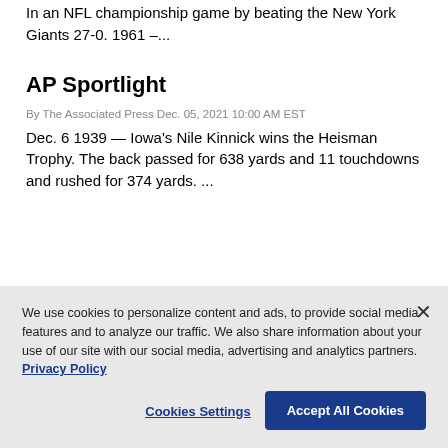In an NFL championship game by beating the New York Giants 27-0. 1961 –...
AP Sportlight
By The Associated Press Dec. 05, 2021 10:00 AM EST
Dec. 6 1939 — Iowa's Nile Kinnick wins the Heisman Trophy. The back passed for 638 yards and 11 touchdowns and rushed for 374 yards. ...
We use cookies to personalize content and ads, to provide social media features and to analyze our traffic. We also share information about your use of our site with our social media, advertising and analytics partners. Privacy Policy
Cookies Settings
Accept All Cookies